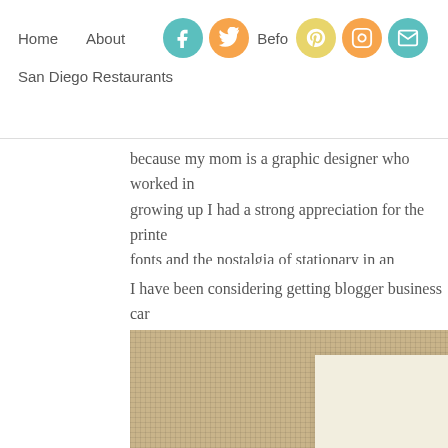Home   About   Befo   San Diego Restaurants
because my mom is a graphic designer who worked in growing up I had a strong appreciation for the printed fonts and the nostalgia of stationary in an increasingly designed paper products and I believe that they have card or an invitation. Both of which, by the way, I happ
I have been considering getting blogger business card baby shower invitations for two of my adorable bestie year. So when I heard about minted I decided to check with their site and beautiful designs.
[Figure (photo): Close-up photo of a burlap textured border with a cream/off-white card insert visible in the lower right portion]